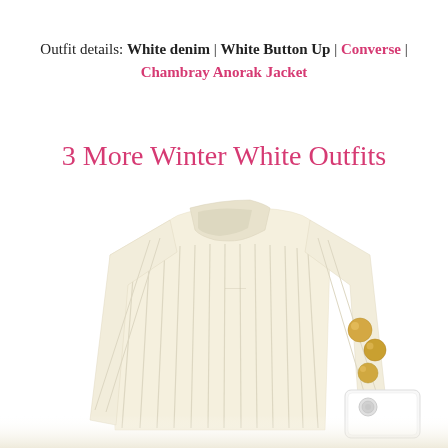Outfit details: White denim | White Button Up | Converse | Chambray Anorak Jacket
3 More Winter White Outfits
[Figure (photo): A cream/off-white ribbed mock-neck sweater laid flat, with gold stud earrings to the right and a white phone case partially visible at bottom right. The bottom of the image fades into a light beige/white gradient.]